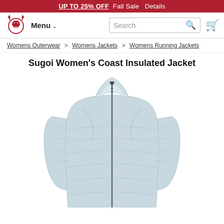UP TO 25% OFF Fall Sale Details
[Figure (logo): Moose head logo with W letter, menu, search bar, and cart icon navigation bar]
Womens Outerwear > Womens Jackets > Womens Running Jackets
Sugoi Women's Coast Insulated Jacket
[Figure (photo): Light blue/gray quilted insulated women's zip-up jacket displayed on a mannequin torso, showing front zipper, mock collar, and quilted panels]